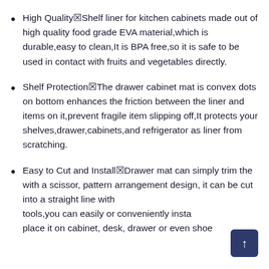High Quality☒Shelf liner for kitchen cabinets made out of high quality food grade EVA material,which is durable,easy to clean,It is BPA free,so it is safe to be used in contact with fruits and vegetables directly.
Shelf Protection☒The drawer cabinet mat is convex dots on bottom enhances the friction between the liner and items on it,prevent fragile item slipping off,It protects your shelves,drawer,cabinets,and refrigerator as liner from scratching.
Easy to Cut and Install☒Drawer mat can simply trim the with a scissor, pattern arrangement design, it can be cut into a straight line without tools,you can easily or conveniently install place it on cabinet, desk, drawer or even shoe